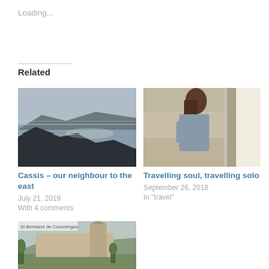Loading...
Related
[Figure (photo): Coastal cliffs and sea view, Cassis]
Cassis – our neighbour to the east
July 21, 2019
With 4 comments
[Figure (photo): Woman with long brown hair standing near stone column]
Travelling soul, travelling solo
September 26, 2018
In "travel"
[Figure (photo): St Bertrand de Comminges cathedral and surrounding landscape]